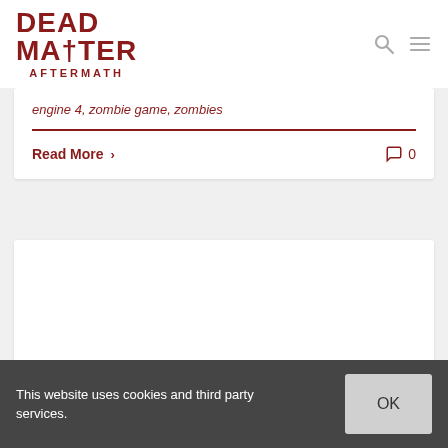[Figure (logo): Dead Matter Aftermath logo - red stylized text]
engine 4, zombie game, zombies
Read More >
0
[Figure (photo): White card area placeholder]
This website uses cookies and third party services.
OK